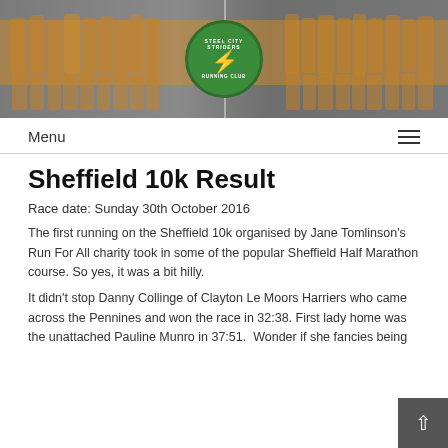[Figure (photo): Group photo of Steel City Striders Running Club members wearing orange and yellow running vests, black and white photo with a green circular club logo overlaid in the center]
Menu
Sheffield 10k Result
Race date: Sunday 30th October 2016
The first running on the Sheffield 10k organised by Jane Tomlinson's Run For All charity took in some of the popular Sheffield Half Marathon course. So yes, it was a bit hilly.
It didn't stop Danny Collinge of Clayton Le Moors Harriers who came across the Pennines and won the race in 32:38. First lady home was the unattached Pauline Munro in 37:51.  Wonder if she fancies being